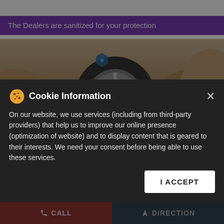The Dealers are sanitized for your protection
[Figure (photo): Apollo Tyres promotional image showing an off-road tire with alloy wheel on rocky terrain with hexagonal feature icons overlaid]
Dealers near me > Himachal Pradesh > Shimla > Dhalli
Apollo Tyres - Auto World
Ground Floor, Thakur Niwas, Sanjauli Bypass Road
Dhalli
Shimla - 171012
Cookie Information
On our website, we use services (including from third-party providers) that help us to improve our online presence (optimization of website) and to display content that is geared to their interests. We need your consent before being able to use these services.
I ACCEPT
CALL   DIRECTION